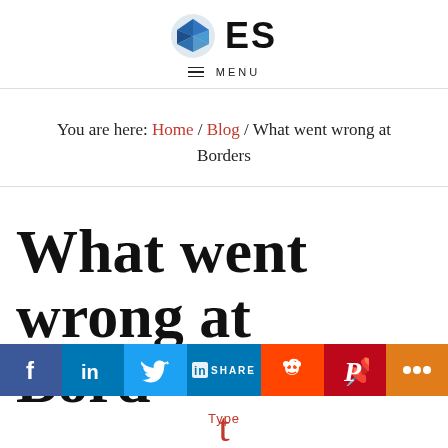ES — MENU
You are here: Home / Blog / What went wrong at Borders
What went wrong at Borders
[Figure (screenshot): Social sharing bar with Facebook, LinkedIn, Twitter, LinkedIn Share, Reddit, Pinterest, and More buttons]
Type t